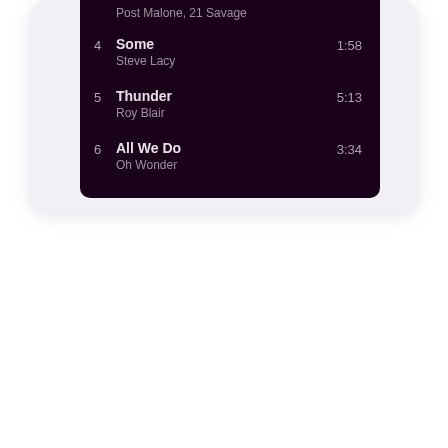[Figure (screenshot): A music playlist UI screenshot showing a dark-themed track listing. Partially visible top entry shows artist 'Post Malone, 21 Savage'. Track 4: 'Some' by Steve Lacy, duration 1:58. Track 5: 'Thunder' by Roy Blair, duration 5:13. Track 6: 'All We Do' by Oh Wonder, duration 3:34.]